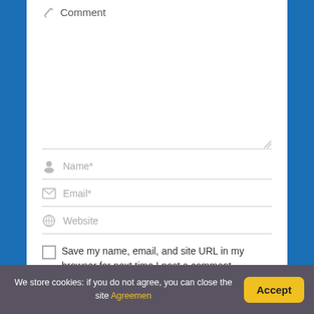Comment
Name*
Email*
Website
Save my name, email, and site URL in my browser for next time I post a comment.
We store cookies: if you do not agree, you can close the site Agreement